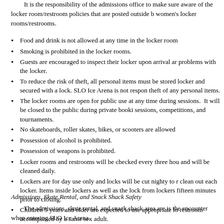It is the responsibility of the admissions office to make sure aware of the locker room/restroom policies that are posted outside b women's locker rooms/restrooms.
Food and drink is not allowed at any time in the locker room
Smoking is prohibited in the locker rooms.
Guests are encouraged to inspect their locker upon arrival and report any problems with the locker.
To reduce the risk of theft, all personal items must be stored locker and secured with a lock. SLO Ice Arena is not responsible for theft of any personal items.
The locker rooms are open for public use at any time during sessions. It will be closed to the public during private bookings, sessions, competitions, and tournaments.
No skateboards, roller skates, bikes, or scooters are allowed
Possession of alcohol is prohibited.
Possession of weapons is prohibited.
Locker rooms and restrooms will be checked every three hours and will be cleaned daily.
Lockers are for day use only and locks will be cut nightly to clean out each locker. Items inside lockers as well as the locks from lockers fifteen minutes prior to closing.
Children 5 years and older are expected to use appropriate locker room/restroom accompanied by a same sex adult.
For privacy reasons, cell phones and other devices that have is not permitted for use inside the locker rooms or restrooms.
Admissions, Skate Rental, and Snack Shack Safety
The admissions, skate rental, and snack shack area are is the encounter when entering SLO Ice Arena.